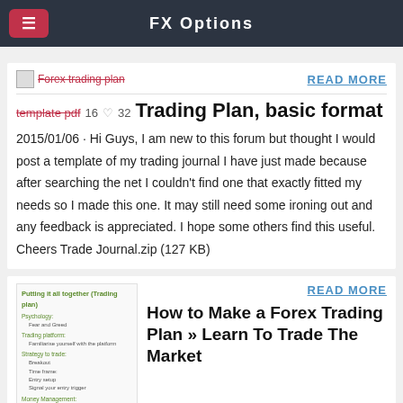FX Options
[Figure (screenshot): Thumbnail image of Forex trading plan template pdf]
READ MORE
template pdf  16  ♡ 32
Trading Plan, basic format
2015/01/06 · Hi Guys, I am new to this forum but thought I would post a template of my trading journal I have just made because after searching the net I couldn't find one that exactly fitted my needs so I made this one. It may still need some ironing out and any feedback is appreciated. I hope some others find this useful. Cheers Trade Journal.zip (127 KB)
[Figure (screenshot): Thumbnail image showing Putting it all together (Trading plan) outline with Psychology, Trading platform, Strategy to trade, Money Management sections]
READ MORE
How to Make a Forex Trading Plan » Learn To Trade The Market